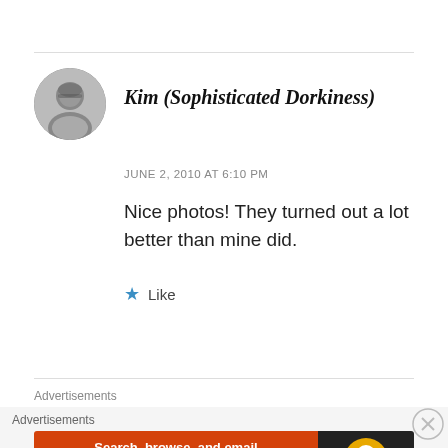[Figure (photo): Circular avatar of a woman with glasses, in black and white]
Kim (Sophisticated Dorkiness)
JUNE 2, 2010 AT 6:10 PM
Nice photos! They turned out a lot better than mine did.
Like
Advertisements
Advertisements
[Figure (screenshot): DuckDuckGo advertisement banner: 'Search, browse, and email with more privacy. All in One Free App' with DuckDuckGo logo on dark background]